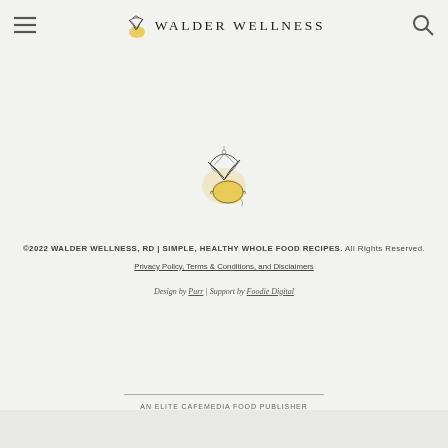WALDER WELLNESS
[Figure (logo): Walder Wellness lemon illustration logo - a hand-drawn lemon with leaves and botanical elements in yellow and dark ink]
©2022 WALDER WELLNESS, RD | SIMPLE, HEALTHY WHOLE FOOD RECIPES. All Rights Reserved.
Privacy Policy, Terms & Conditions, and Disclaimers
Design by Purr | Support by Foodie Digital
AN ELITE CAFEMEDIA FOOD PUBLISHER